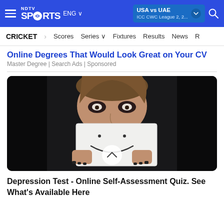NDTV Sports ENG | USA vs UAE ICC CWC League 2, 2... | CRICKET Scores Series Fixtures Results News
Online Degrees That Would Look Great on Your CV
Master Degree | Search Ads | Sponsored
[Figure (photo): A woman with smudged black eye makeup holding a piece of paper with a smiley face drawn on it up to cover the lower half of her face, against a dark background. There is a circular expand/collapse button overlaid at the bottom center of the image.]
Depression Test - Online Self-Assessment Quiz. See What's Available Here